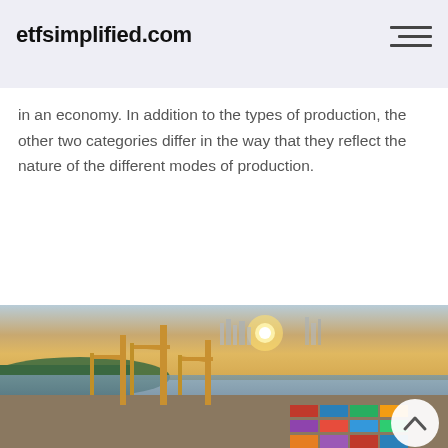etfsimplified.com
in an economy. In addition to the types of production, the other two categories differ in the way that they reflect the nature of the different modes of production.
[Figure (photo): Aerial photograph of a busy port/shipping terminal at sunset, with large yellow cranes, cargo containers, a river, green areas, and a city skyline in the background. A back-to-top arrow button is overlaid in the bottom-right corner.]